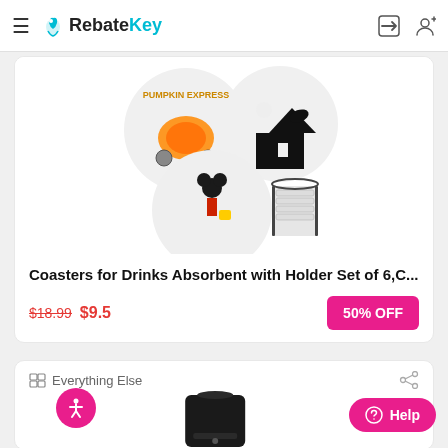RebateKey
[Figure (photo): Product image showing four ceramic coasters with Halloween designs (pumpkin carriage, haunted house, Mickey Mouse in costume) and a coaster holder]
Coasters for Drinks Absorbent with Holder Set of 6,C...
$18.99 $9.5  50% OFF
Everything Else
[Figure (photo): Product image showing a black pouch/bag]